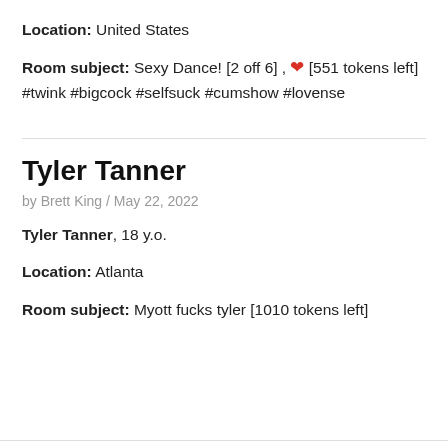Location: United States
Room subject: Sexy Dance! [2 off 6] , ❤ [551 tokens left] #twink #bigcock #selfsuck #cumshow #lovense
Tyler Tanner
by Brett King / May 22, 2022
Tyler Tanner, 18 y.o.
Location: Atlanta
Room subject: Myott fucks tyler [1010 tokens left]